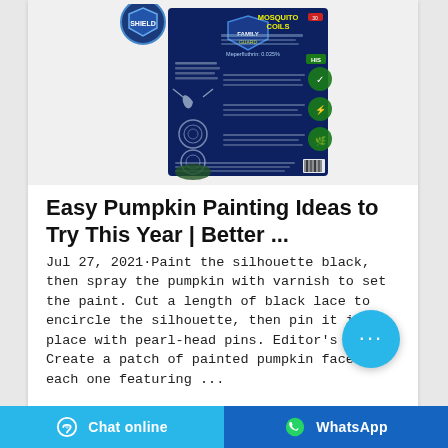[Figure (photo): Product image of mosquito coils packaging - dark blue box with shield logo, 'MOSQUITO COILS' text, green circular icons, and barcode on right side]
Easy Pumpkin Painting Ideas to Try This Year | Better ...
Jul 27, 2021·Paint the silhouette black, then spray the pumpkin with varnish to set the paint. Cut a length of black lace to encircle the silhouette, then pin it in place with pearl-head pins. Editor's Tip: Create a patch of painted pumpkin faces, each one featuring ...
Chat online   WhatsApp